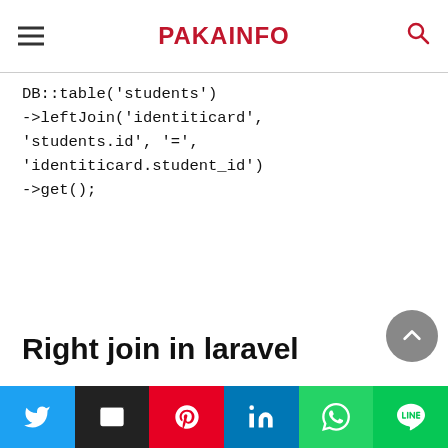PAKAINFO
DB::table('students')
->leftJoin('identiticard',
'students.id', '=',
'identiticard.student_id')
->get();
Right join in laravel
Right Join: – If we want to have all the record set display in the right Database table in Laravel or if there is no data set in the left Database table, we can use simple RIGHT simple for it.
Twitter | Email | Pinterest | LinkedIn | WhatsApp | LINE